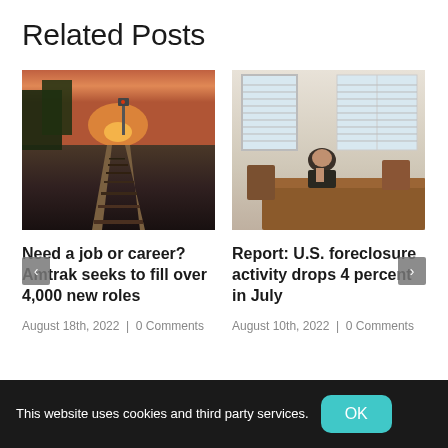Related Posts
[Figure (photo): Railroad tracks receding into the distance at sunset with orange and pink sky]
Need a job or career? Amtrak seeks to fill over 4,000 new roles
August 18th, 2022  |  0 Comments
[Figure (photo): Person sitting alone at a wooden dining table in a bright room with white shuttered windows]
Report: U.S. foreclosure activity drops 4 percent in July
August 10th, 2022  |  0 Comments
This website uses cookies and third party services.